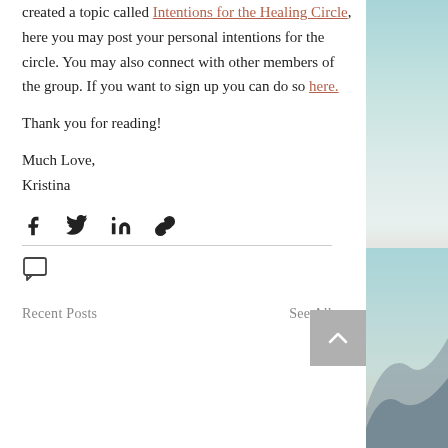created a topic called Intentions for the Healing Circle, here you may post your personal intentions for the circle. You may also connect with other members of the group. If you want to sign up you can do so here.
Thank you for reading!
Much Love,
Kristina
[Figure (other): Social share icons: Facebook, Twitter, LinkedIn, Link/copy]
[Figure (other): Comment icon (speech bubble)]
Recent Posts
See All
[Figure (photo): Decorative right-side panel with teal/blue sky gradient and mountain silhouette]